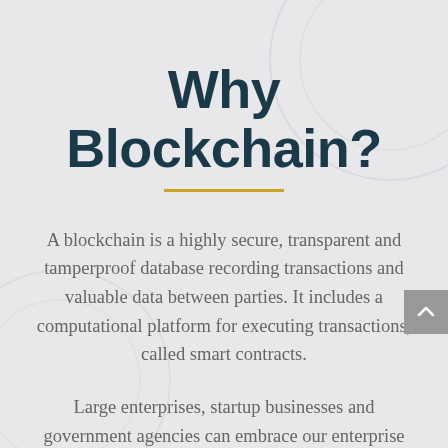Why Blockchain?
A blockchain is a highly secure, transparent and tamperproof database recording transactions and valuable data between parties. It includes a computational platform for executing transactions, called smart contracts.
Large enterprises, startup businesses and government agencies can embrace our enterprise blockchain solutions to rebuild